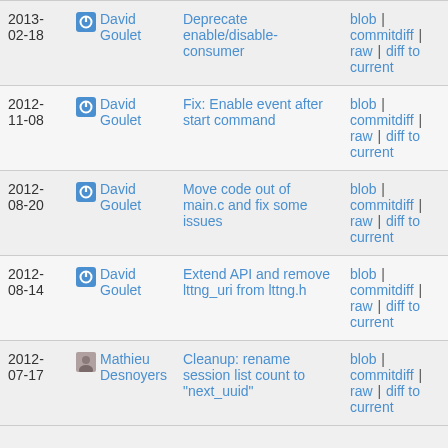| Date | Author | Commit message | Links |
| --- | --- | --- | --- |
| 2013-02-18 | David Goulet | Deprecate enable/disable-consumer | blob | commitdiff | raw | diff to current |
| 2012-11-08 | David Goulet | Fix: Enable event after start command | blob | commitdiff | raw | diff to current |
| 2012-08-20 | David Goulet | Move code out of main.c and fix some issues | blob | commitdiff | raw | diff to current |
| 2012-08-14 | David Goulet | Extend API and remove lttng_uri from lttng.h | blob | commitdiff | raw | diff to current |
| 2012-07-17 | Mathieu Desnoyers | Cleanup: rename session list count to "next_uuid" | blob | commitdiff | raw | diff to current |